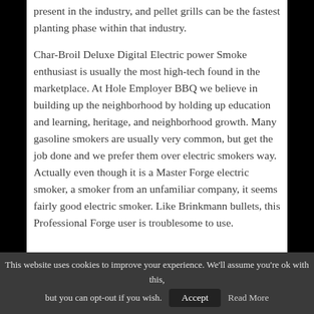present in the industry, and pellet grills can be the fastest planting phase within that industry.
Char-Broil Deluxe Digital Electric power Smoke enthusiast is usually the most high-tech found in the marketplace. At Hole Employer BBQ we believe in building up the neighborhood by holding up education and learning, heritage, and neighborhood growth. Many gasoline smokers are usually very common, but get the job done and we prefer them over electric smokers way. Actually even though it is a Master Forge electric smoker, a smoker from an unfamiliar company, it seems fairly good electric smoker. Like Brinkmann bullets, this Professional Forge user is troublesome to use.
This website uses cookies to improve your experience. We'll assume you're ok with this, but you can opt-out if you wish. Accept Read More